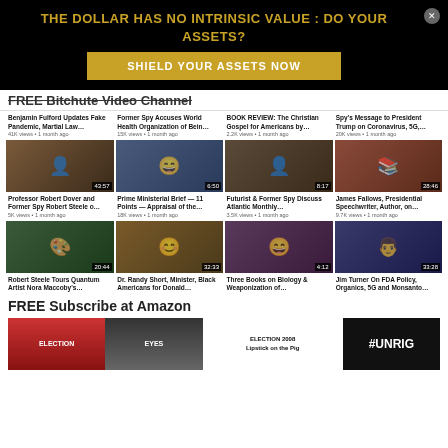THE DOLLAR HAS NO INTRINSIC VALUE : DO YOUR ASSETS?
SHIELD YOUR ASSETS NOW
FREE Bitchute Video Channel
[Figure (screenshot): Video grid showing 8 YouTube-style video thumbnails with titles, view counts, and upload dates]
FREE Subscribe at Amazon
[Figure (screenshot): Row of book covers including Election and Eyes books, ELECTION 2008 Lipstick on the Pig, and #UNRIG on black background]